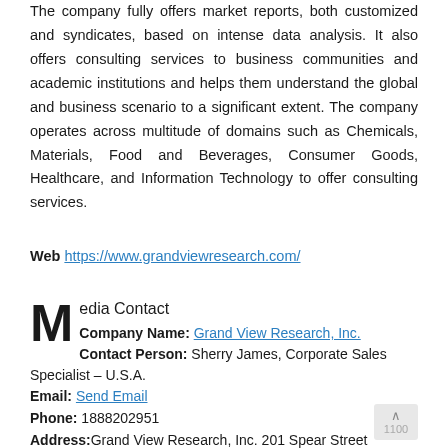The company fully offers market reports, both customized and syndicates, based on intense data analysis. It also offers consulting services to business communities and academic institutions and helps them understand the global and business scenario to a significant extent. The company operates across multitude of domains such as Chemicals, Materials, Food and Beverages, Consumer Goods, Healthcare, and Information Technology to offer consulting services.
Web https://www.grandviewresearch.com/
Media Contact
Company Name: Grand View Research, Inc.
Contact Person: Sherry James, Corporate Sales Specialist – U.S.A.
Email: Send Email
Phone: 1888202951
Address: Grand View Research, Inc. 201 Spear Street 1100 San Francisco, CA 94105, United States